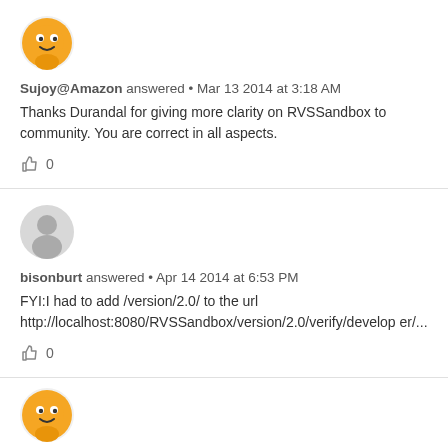[Figure (illustration): Orange cartoon frog/character avatar for Sujoy@Amazon]
Sujoy@Amazon answered • Mar 13 2014 at 3:18 AM
Thanks Durandal for giving more clarity on RVSSandbox to community. You are correct in all aspects.
👍 0
[Figure (illustration): Gray default user silhouette avatar for bisonburt]
bisonburt answered • Apr 14 2014 at 6:53 PM
FYI:I had to add /version/2.0/ to the url http://localhost:8080/RVSSandbox/version/2.0/verify/developer/...
👍 0
[Figure (illustration): Orange cartoon frog/character avatar partially visible at bottom]